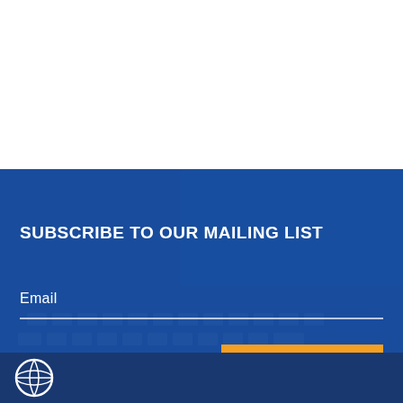[Figure (photo): Top white blank area, upper portion of page]
[Figure (photo): Blue-tinted photo background of person typing on laptop keyboard, used as background for mailing list subscription section]
SUBSCRIBE TO OUR MAILING LIST
Email
[Figure (other): Orange SUBSCRIBE button]
[Figure (logo): Globe/world icon in white on dark navy bottom bar]